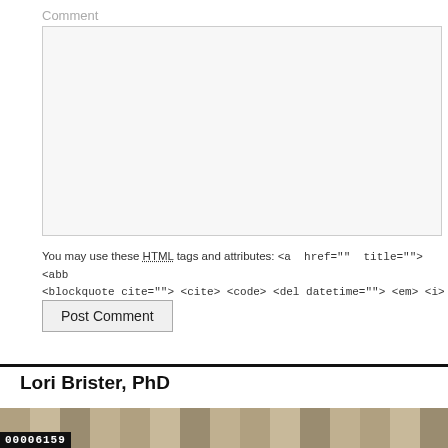Comment
[Figure (screenshot): Empty comment text area input box with light gray background]
You may use these HTML tags and attributes: <a href="" title=""> <abb <blockquote cite=""> <cite> <code> <del datetime=""> <em> <i>
Post Comment
Lori Brister, PhD
[Figure (photo): Strip of a photo showing ancient columns]
00006159